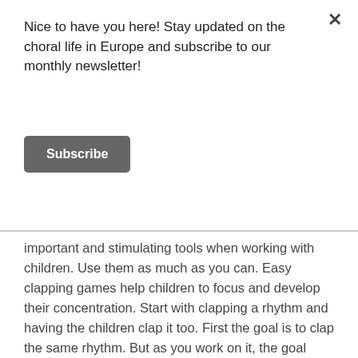Nice to have you here! Stay updated on the choral life in Europe and subscribe to our monthly newsletter!
Subscribe
important and stimulating tools when working with children. Use them as much as you can. Easy clapping games help children to focus and develop their concentration. Start with clapping a rhythm and having the children clap it too. First the goal is to clap the same rhythm. But as you work on it, the goal should move to actually clapping together, really all together. Everyone should watch the others to make sure there’s only one sound being produced. A great exercise to work on as a group. You can also do this with cups or percussion instruments. You start with a short pattern but elaborate it the longer you work on it. Video examples of this are provided in the “Sing Me In: Repertoire Guide” as well as on the